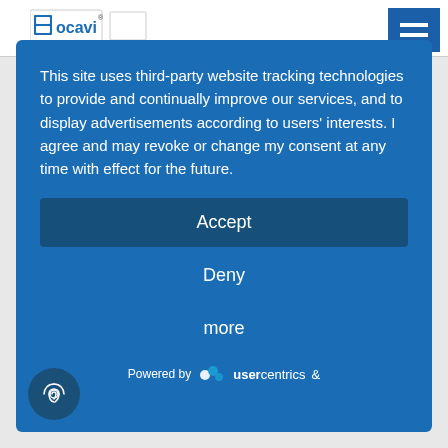[Figure (screenshot): Website header with logo on left and hamburger menu icon on right (navy blue background)]
This site uses third-party website tracking technologies to provide and continually improve our services, and to display advertisements according to users' interests. I agree and may revoke or change my consent at any time with effect for the future.
Accept
Deny
more
Powered by  usercentrics  &